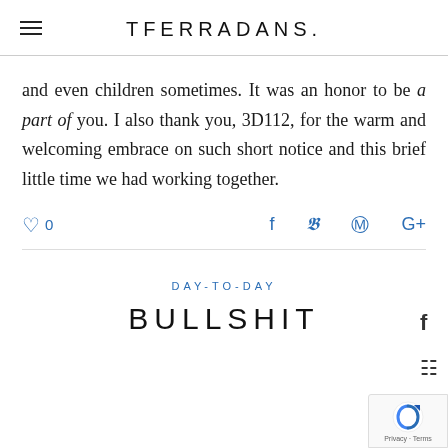TFERRADANS.
and even children sometimes. It was an honor to be a part of you. I also thank you, 3D112, for the warm and welcoming embrace on such short notice and this brief little time we had working together.
♡ 0   f   𝕥   𝗽   G+
DAY-TO-DAY
BULLSHIT